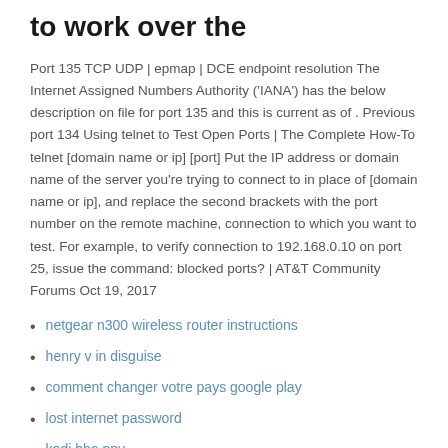to work over the
Port 135 TCP UDP | epmap | DCE endpoint resolution The Internet Assigned Numbers Authority ('IANA') has the below description on file for port 135 and this is current as of . Previous port 134 Using telnet to Test Open Ports | The Complete How-To telnet [domain name or ip] [port] Put the IP address or domain name of the server you're trying to connect to in place of [domain name or ip], and replace the second brackets with the port number on the remote machine, connection to which you want to test. For example, to verify connection to 192.168.0.10 on port 25, issue the command: blocked ports? | AT&T Community Forums Oct 19, 2017
netgear n300 wireless router instructions
henry v in disguise
comment changer votre pays google play
lost internet password
kodi hbo ppv